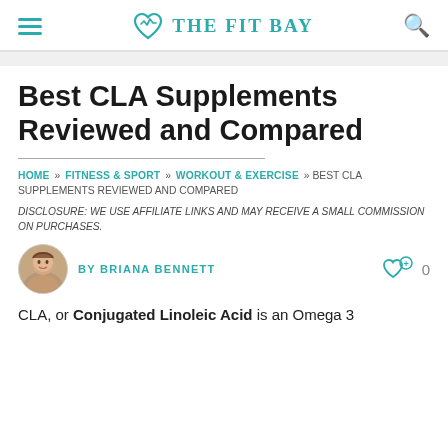THE FIT BAY
Best CLA Supplements Reviewed and Compared
HOME » FITNESS & SPORT » WORKOUT & EXERCISE » BEST CLA SUPPLEMENTS REVIEWED AND COMPARED
DISCLOSURE: WE USE AFFILIATE LINKS AND MAY RECEIVE A SMALL COMMISSION ON PURCHASES.
BY BRIANA BENNETT
CLA, or Conjugated Linoleic Acid is an Omega 3